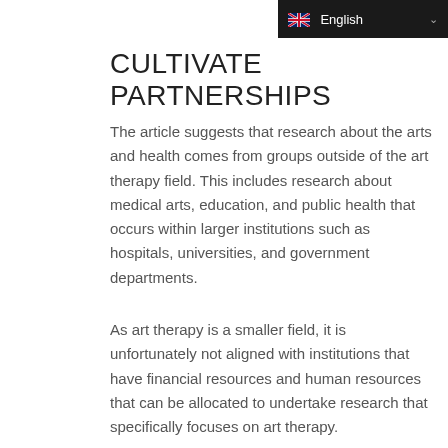English
CULTIVATE PARTNERSHIPS
The article suggests that research about the arts and health comes from groups outside of the art therapy field. This includes research about medical arts, education, and public health that occurs within larger institutions such as hospitals, universities, and government departments.
As art therapy is a smaller field, it is unfortunately not aligned with institutions that have financial resources and human resources that can be allocated to undertake research that specifically focuses on art therapy.
Art therapists have a significant amount of client experience to offer more formal institutions who have the funds and resources to explore the links between